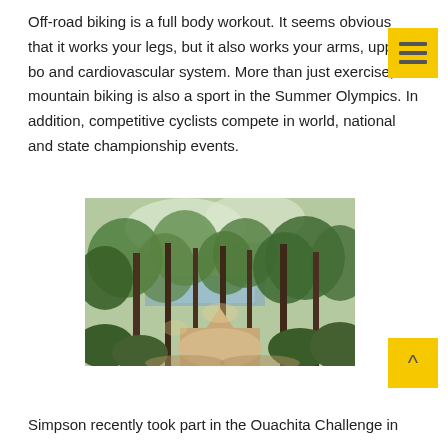Off-road biking is a full body workout. It seems obvious that it works your legs, but it also works your arms, upper body and cardiovascular system. More than just exercise, mountain biking is also a sport in the Summer Olympics. In addition, competitive cyclists compete in world, national and state championship events.
[Figure (photo): A forest trail path with tall trees and dappled sunlight, with a body of water visible in the background through the trees.]
Simpson recently took part in the Ouachita Challenge in